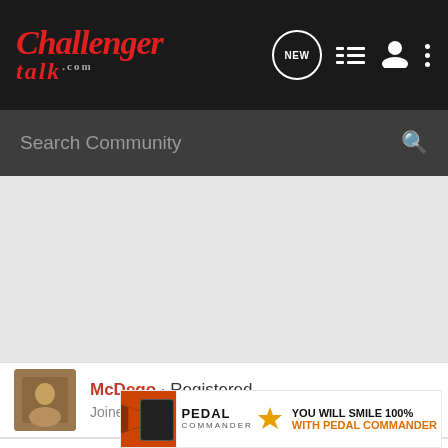[Figure (logo): ChallengerTalk.com logo in red italic script on dark navbar with navigation icons (NEW bubble, list, user, dots)]
Search Community
[Figure (photo): Gray content area / advertisement space]
McDego · Registered
Joined Jan 29, 2017 · 145 Posts
#10 · Feb 21, 2017
Is there
[Figure (other): Pedal Commander advertisement banner with orange arrow graphic, product image, PEDAL COMMANDER logo with star, text: YOU WILL SMILE 100% WITH PEDAL COMMANDER]
Wher